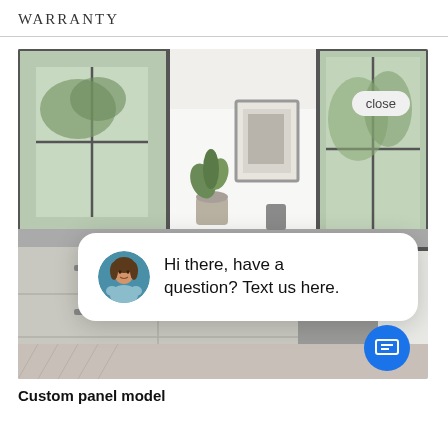WARRANTY
[Figure (screenshot): Interior room photo showing gray cabinetry with silver knobs, a dresser/appliance area with decorative plant and framed art, large windows with black frames, herringbone tile floor. Overlaid with a chat widget: a popup bubble with a woman's avatar photo and text 'Hi there, have a question? Text us here.' with a 'close' button, and a blue circular chat FAB icon at bottom right.]
Custom panel model